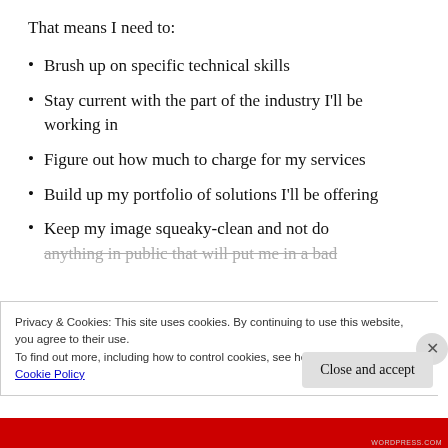That means I need to:
Brush up on specific technical skills
Stay current with the part of the industry I'll be working in
Figure out how much to charge for my services
Build up my portfolio of solutions I'll be offering
Keep my image squeaky-clean and not do anything in public that will put me in a bad
Privacy & Cookies: This site uses cookies. By continuing to use this website, you agree to their use. To find out more, including how to control cookies, see here: Cookie Policy
Close and accept